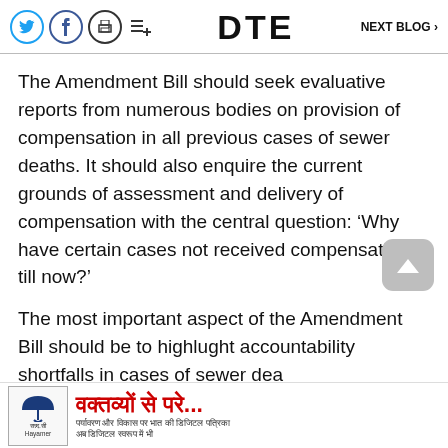DTE   NEXT BLOG >
The Amendment Bill should seek evaluative reports from numerous bodies on provision of compensation in all previous cases of sewer deaths. It should also enquire the current grounds of assessment and delivery of compensation with the central question: ‘Why have certain cases not received compensation till now?’
The most important aspect of the Amendment Bill should be to highlught accountability shortfalls in cases of sewer dea
[Figure (other): Advertisement banner with Hindi text: वक्तव्यों से परे... and smaller Hindi subtext, with an umbrella logo]